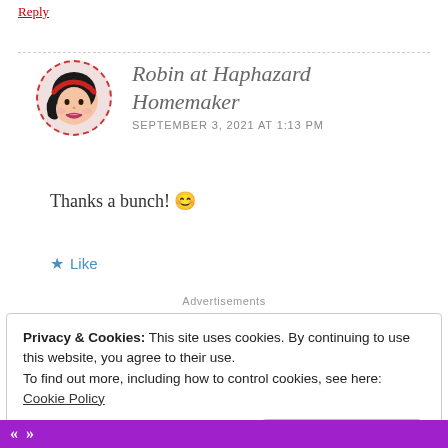Reply
[Figure (illustration): Circular avatar of a cartoon woman with black hair and red headband, with dashed red circular border]
Robin at Haphazard Homemaker
SEPTEMBER 3, 2021 AT 1:13 PM
Thanks a bunch! 😊
★ Like
Advertisements
Privacy & Cookies: This site uses cookies. By continuing to use this website, you agree to their use.
To find out more, including how to control cookies, see here:
Cookie Policy
Close and accept